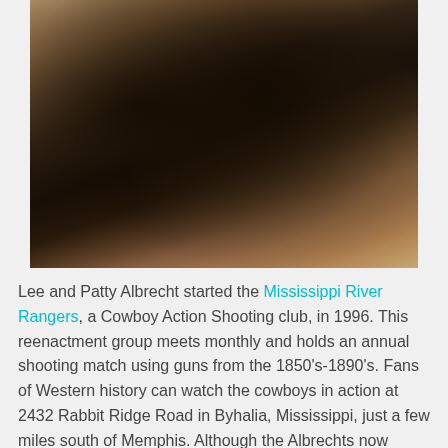[Figure (photo): Old sepia-toned photograph of two people, likely a man and woman in Victorian-era clothing, standing together. The image is dark with brownish tones.]
Lee and Patty Albrecht started the Mississippi River Rangers, a Cowboy Action Shooting club, in 1996. This reenactment group meets monthly and holds an annual shooting match using guns from the 1850's-1890's. Fans of Western history can watch the cowboys in action at 2432 Rabbit Ridge Road in Byhalia, Mississippi, just a few miles south of Memphis. Although the Albrechts now reside in Memphis, they continue to participate in the